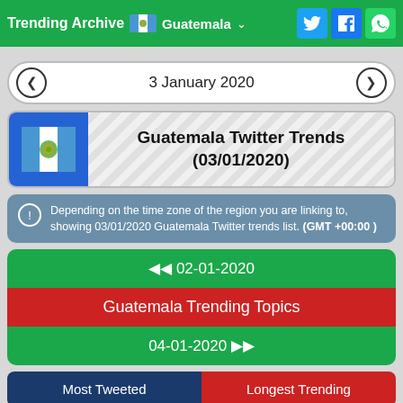Trending Archive | Guatemala | Twitter | Facebook | WhatsApp
3 January 2020
Guatemala Twitter Trends (03/01/2020)
Depending on the time zone of the region you are linking to, showing 03/01/2020 Guatemala Twitter trends list. (GMT +00:00 )
◄◄ 02-01-2020
Guatemala Trending Topics
04-01-2020 ►►
Most Tweeted | Longest Trending